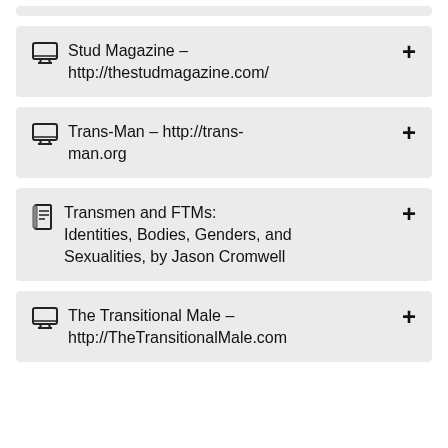Stud Magazine – http://thestudmagazine.com/
Trans-Man – http://trans-man.org
Transmen and FTMs: Identities, Bodies, Genders, and Sexualities, by Jason Cromwell
The Transitional Male – http://TheTransitionalMale.com